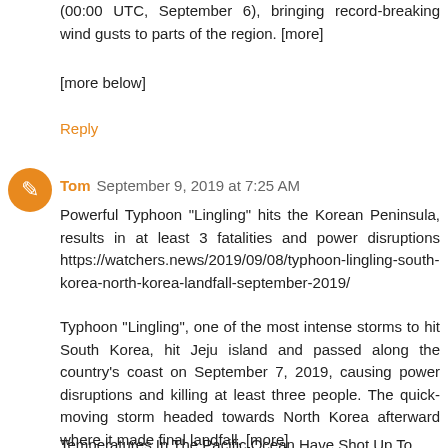(00:00 UTC, September 6), bringing record-breaking wind gusts to parts of the region. [more]
[more below]
Reply
Tom  September 9, 2019 at 7:25 AM
Powerful Typhoon "Lingling" hits the Korean Peninsula, results in at least 3 fatalities and power disruptions https://watchers.news/2019/09/08/typhoon-lingling-south-korea-north-korea-landfall-september-2019/
Typhoon "Lingling", one of the most intense storms to hit South Korea, hit Jeju island and passed along the country's coast on September 7, 2019, causing power disruptions and killing at least three people. The quick-moving storm headed towards North Korea afterward where it made final landfall. [more]
Temperatures In The Pacific Ocean Have Shot Up To